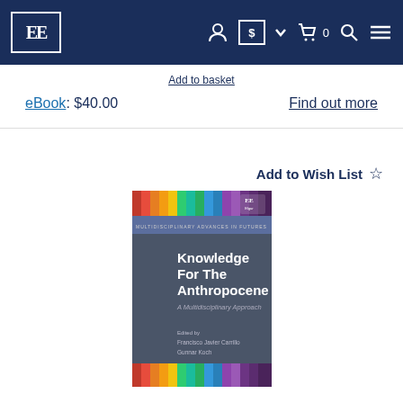EE (Edward Elgar Publishing) navigation bar with logo, account, currency ($), cart (0), search, and menu icons
Add to basket
eBook: $40.00
Find out more
Add to Wish List ☆
[Figure (photo): Book cover of 'Knowledge For The Anthropocene: A Multidisciplinary Approach', edited by Francisco Javier Carrillo and Gunnar Koch. Published by EE Elgar. Cover features a rainbow-spectrum of vertical color bars at top and bottom on a dark gray/slate background with the title and editor names in white text.]